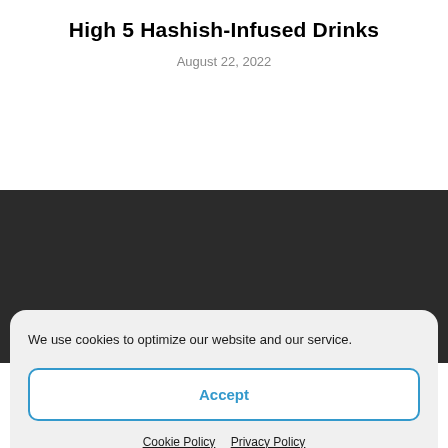High 5 Hashish-Infused Drinks
August 22, 2022
ABOUT US
We use cookies to optimize our website and our service.
Accept
Cookie Policy  Privacy Policy